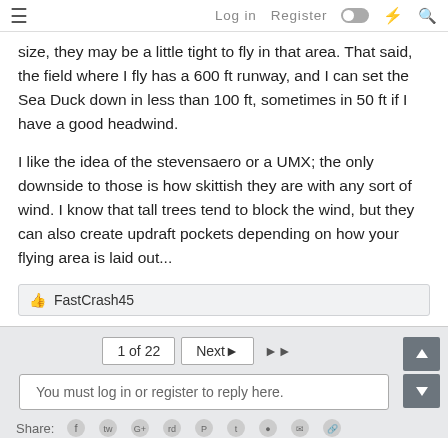Log in   Register
size, they may be a little tight to fly in that area. That said, the field where I fly has a 600 ft runway, and I can set the Sea Duck down in less than 100 ft, sometimes in 50 ft if I have a good headwind.

I like the idea of the stevensaero or a UMX; the only downside to those is how skittish they are with any sort of wind. I know that tall trees tend to block the wind, but they can also create updraft pockets depending on how your flying area is laid out...
👍 FastCrash45
1 of 22   Next▶   ▶▶
You must log in or register to reply here.